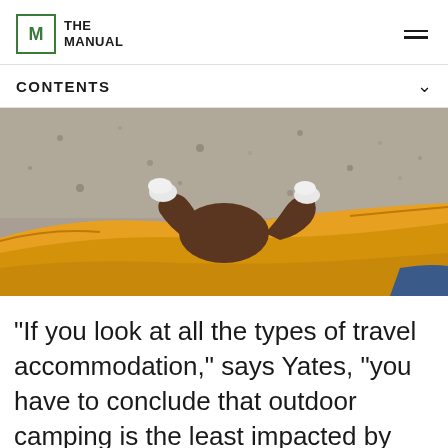THE MANUAL
CONTENTS
[Figure (photo): Person lying in a yellow hammock outdoors, legs crossed with white socks visible, view from waist down looking toward feet, gravel ground visible in background]
“If you look at all the types of travel accommodation,” says Yates, “you have to conclude that outdoor camping is the least impacted by coronavirus. It’s out in the